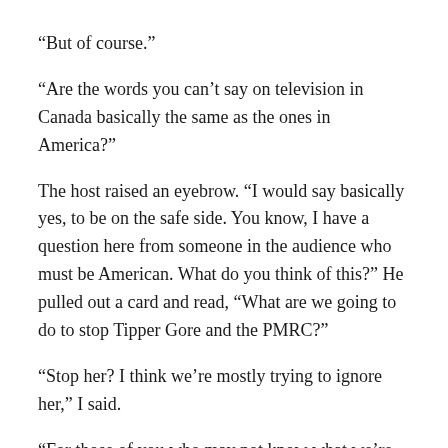“But of course.”
“Are the words you can’t say on television in Canada basically the same as the ones in America?”
The host raised an eyebrow. “I would say basically yes, to be on the safe side. You know, I have a question here from someone in the audience who must be American. What do you think of this?” He pulled out a card and read, “What are we going to do to stop Tipper Gore and the PMRC?”
“Stop her? I think we’re mostly trying to ignore her,” I said.
“For those of you who may not know what we’re talking about,” the host clarified, “the PMRC is the Parents Music Resource Center, an effort being led by the wife of Tennessee Senator Al Gore, to clean up rock and roll in the